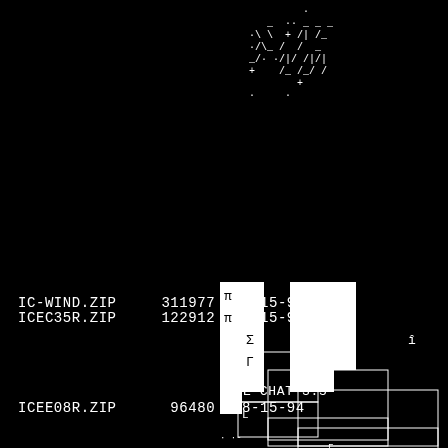[Figure (illustration): ASCII art graphic in upper right corner showing decorative characters forming an abstract image with slashes, backslashes, dots, and plus signs]
IC-WIND.ZIP     311977  08-15-94
[Figure (illustration): Pixel art block graphic in right-center area showing white squares arranged in a pattern with Greek letters (pi, Sigma, Gamma) visible within the blocks]
ICEC35R.ZIP     122912  08-15-94
[Figure (illustration): Box-drawing ASCII art in right side showing nested rectangle outlines with 'L' character and dots forming a UI diagram]
ICE CHAT 3.5
ICEE08R.ZIP      96480  08-15-94
[Figure (illustration): Box-drawing ASCII art in lower right showing nested rectangle outlines with 'L' character forming a UI diagram]